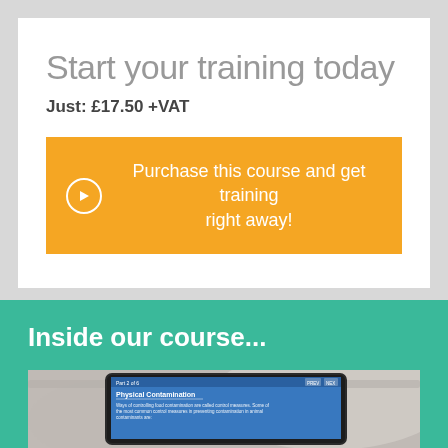Start your training today
Just: £17.50 +VAT
Purchase this course and get training right away!
Inside our course...
[Figure (screenshot): Tablet device showing a course slide titled 'Physical Contamination' with descriptive text about food contamination control measures]